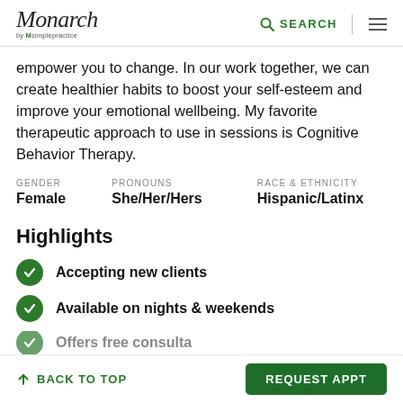Monarch by SimplePractice — SEARCH
empower you to change. In our work together, we can create healthier habits to boost your self-esteem and improve your emotional wellbeing. My favorite therapeutic approach to use in sessions is Cognitive Behavior Therapy.
| GENDER | PRONOUNS | RACE & ETHNICITY |
| --- | --- | --- |
| Female | She/Her/Hers | Hispanic/Latinx |
Highlights
Accepting new clients
Available on nights & weekends
Offers free consultation
BACK TO TOP   REQUEST APPT